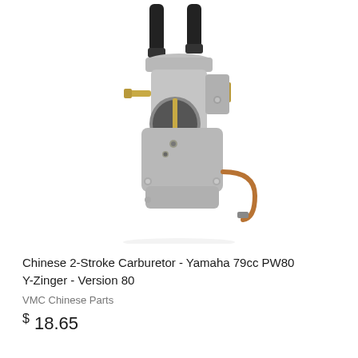[Figure (photo): A carburetor product photo showing a Chinese 2-stroke carburetor for Yamaha 79cc PW80 Y-Zinger. The carburetor is silver/grey die-cast metal with black cable tops, brass fittings, and a copper fuel line on the lower right. It is photographed from the front at a slight angle against a white background.]
Chinese 2-Stroke Carburetor - Yamaha 79cc PW80 Y-Zinger - Version 80
VMC Chinese Parts
$ 18.65